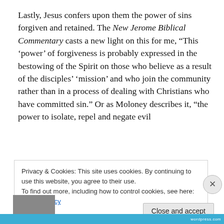Lastly, Jesus confers upon them the power of sins forgiven and retained. The New Jerome Biblical Commentary casts a new light on this for me, “This ‘power’ of forgiveness is probably expressed in the bestowing of the Spirit on those who believe as a result of the disciples’ ‘mission’ and who join the community rather than in a process of dealing with Christians who have committed sin.” Or as Moloney describes it, “the power to isolate, repel and negate evil
Privacy & Cookies: This site uses cookies. By continuing to use this website, you agree to their use.
To find out more, including how to control cookies, see here: Cookie Policy
Close and accept